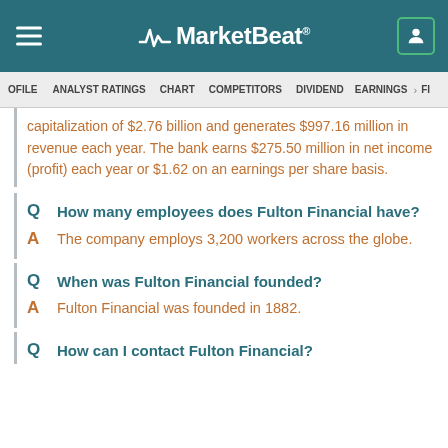MarketBeat
PROFILE | ANALYST RATINGS | CHART | COMPETITORS | DIVIDEND | EARNINGS > FI...
capitalization of $2.76 billion and generates $997.16 million in revenue each year. The bank earns $275.50 million in net income (profit) each year or $1.62 on an earnings per share basis.
Q  How many employees does Fulton Financial have?
A  The company employs 3,200 workers across the globe.
Q  When was Fulton Financial founded?
A  Fulton Financial was founded in 1882.
Q  How can I contact Fulton Financial?